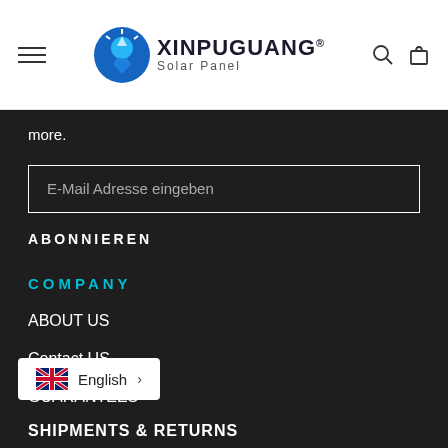Xinpuguang® Solar Panel — navigation header with hamburger menu, logo, search and cart icons
more.
E-Mail Adresse eingeben
ABONNIEREN
COMPANY
ABOUT US
Contact US
GUARANTEES
English >
SHIPMENTS & RETURNS